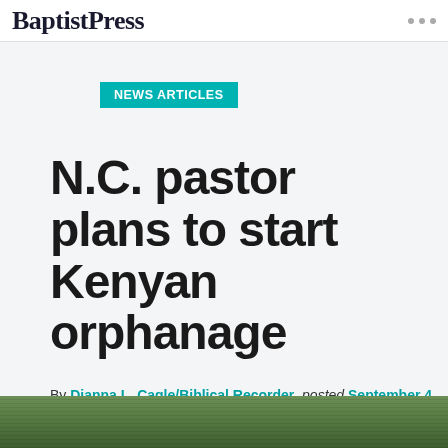BaptistPress
NEWS ARTICLES
N.C. pastor plans to start Kenyan orphanage
By Dianna L. Cagle/Biblical Recorder, posted September 4, 2018 in
[Figure (photo): Partial view of a green outdoor/nature photo strip at the bottom of the page]